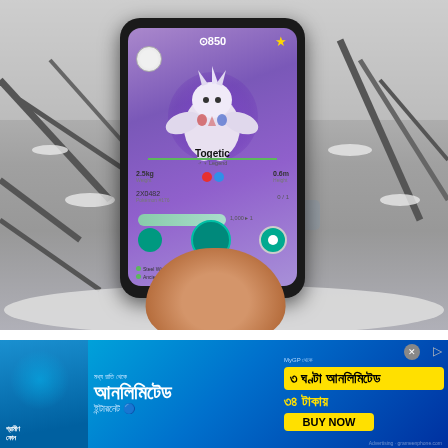[Figure (photo): A hand holding a smartphone displaying Pokémon Go app showing a Togetic Pokémon with CP 850, against a snowy winter forest background.]
Pokémon Go has gotten 80 new Pokémon from the
[Figure (photo): Advertisement banner for a telecom company (Grameenphone) offering unlimited internet data - 3 hours unlimited for 34 taka, with Bengali text and BUY NOW button.]